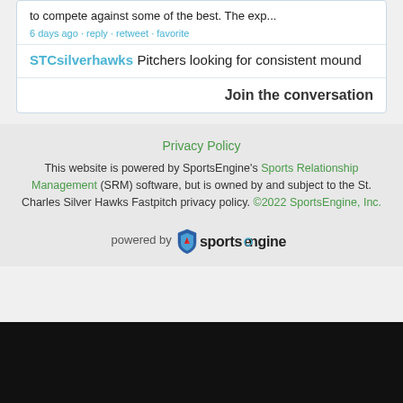to compete against some of the best. The exp...
6 days ago · reply · retweet · favorite
STCsilverhawks Pitchers looking for consistent mound
Join the conversation
Privacy Policy
This website is powered by SportsEngine's Sports Relationship Management (SRM) software, but is owned by and subject to the St. Charles Silver Hawks Fastpitch privacy policy. ©2022 SportsEngine, Inc.
[Figure (logo): powered by sportsengine logo]